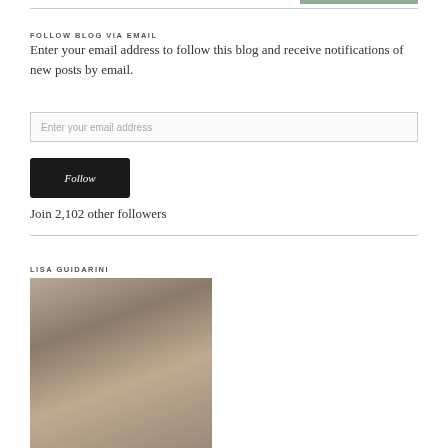FOLLOW BLOG VIA EMAIL
Enter your email address to follow this blog and receive notifications of new posts by email.
Enter your email address
Follow
Join 2,102 other followers
LISA GUIDARINI
[Figure (photo): Photo of Lisa Guidarini, partially visible, showing hair and face]